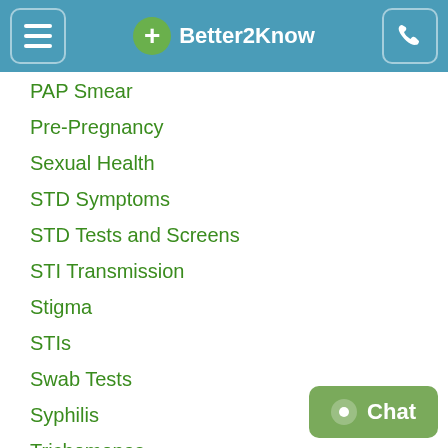Better2Know
PAP Smear
Pre-Pregnancy
Sexual Health
STD Symptoms
STD Tests and Screens
STI Transmission
Stigma
STIs
Swab Tests
Syphilis
Trichomonas
Ureaplasma
WSW
Zika